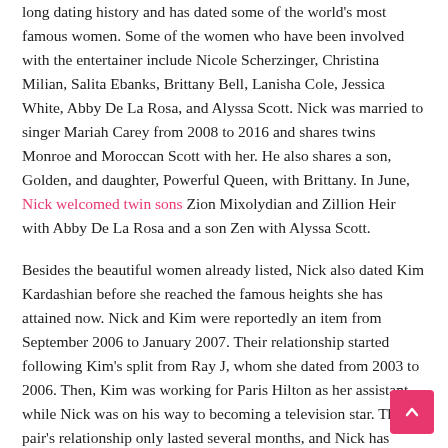long dating history and has dated some of the world's most famous women. Some of the women who have been involved with the entertainer include Nicole Scherzinger, Christina Milian, Salita Ebanks, Brittany Bell, Lanisha Cole, Jessica White, Abby De La Rosa, and Alyssa Scott. Nick was married to singer Mariah Carey from 2008 to 2016 and shares twins Monroe and Moroccan Scott with her. He also shares a son, Golden, and daughter, Powerful Queen, with Brittany. In June, Nick welcomed twin sons Zion Mixolydian and Zillion Heir with Abby De La Rosa and a son Zen with Alyssa Scott.
Besides the beautiful women already listed, Nick also dated Kim Kardashian before she reached the famous heights she has attained now. Nick and Kim were reportedly an item from September 2006 to January 2007. Their relationship started following Kim's split from Ray J, whom she dated from 2003 to 2006. Then, Kim was working for Paris Hilton as her assistant while Nick was on his way to becoming a television star. The pair's relationship only lasted several months, and Nick has previously opened up about why they ended things. He once revealed they split because Kim lied to him about her infamous tape with Ray J. According to him, she denied the existence of any tape with Ray J.